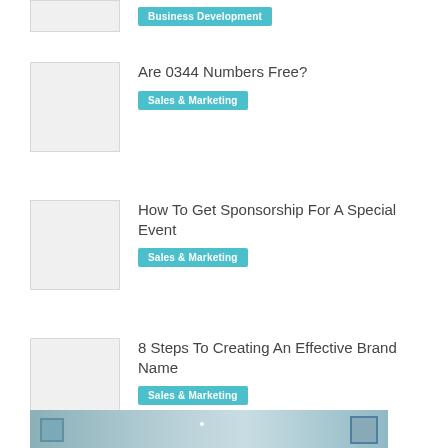Business Development
Are 0344 Numbers Free?
Sales & Marketing
How To Get Sponsorship For A Special Event
Sales & Marketing
8 Steps To Creating An Effective Brand Name
Sales & Marketing
[Figure (photo): Bottom image strip showing a building/street scene]